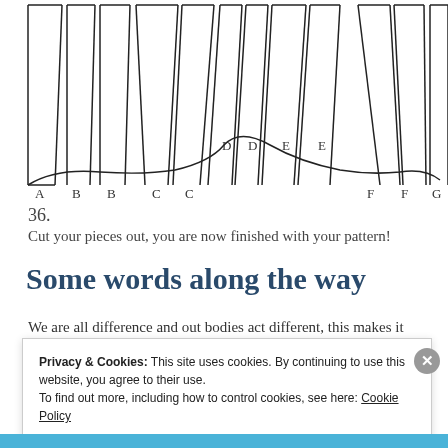[Figure (illustration): Sewing pattern pieces laid out showing labeled sections A, B, B, C, C, D, D, E, E, F, F, G along the bottom edge with curved waistline connecting them]
36.
Cut your pieces out, you are now finished with your pattern!
Some words along the way
We are all difference and out bodies act different, this makes it harder when It comes to pattern drafting a piece with such a
Privacy & Cookies: This site uses cookies. By continuing to use this website, you agree to their use.
To find out more, including how to control cookies, see here: Cookie Policy
Close and accept